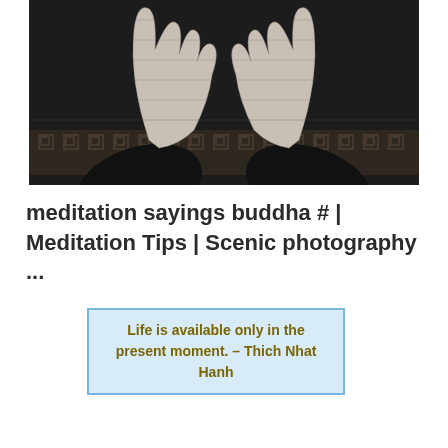[Figure (photo): Black and white photograph of two hands raised upward against a decorative patterned background with Greek key motif band]
meditation sayings buddha # | Meditation Tips | Scenic photography ...
[Figure (photo): Scenic mountain landscape photo (Dolomites-like peaks, green meadows, trees, blue sky with clouds) with overlaid quote box: 'Life is available only in the present moment. – Thich Nhat Hanh']